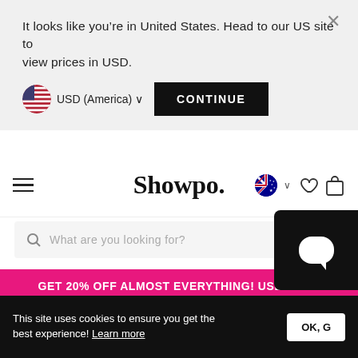It looks like you're in United States. Head to our US site to view prices in USD.
USD (America) ∨
CONTINUE
Showpo.
What are you looking for?
GET 20% OFF ALMOST EVERYTHING! USE CODE AFTERPAYDAY AT CHECKOUT! (MIN SPEND $100) SHOP NOW!
HOME / DRESSES / WRAP DRESSES / FRANCILLE LONG SLEEVE WRAP MINI DRESS IN ORANGE
This site uses cookies to ensure you get the best experience! Learn more
OK, G